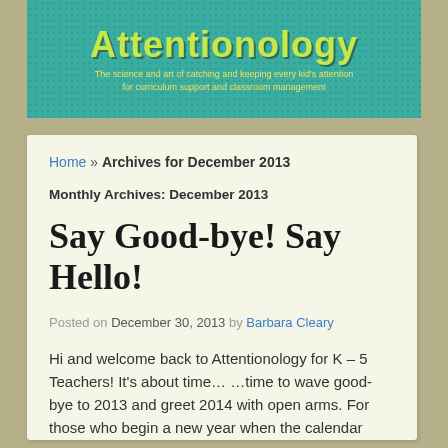[Figure (illustration): Attentionology blog header banner with teal/green mottled background. Title reads 'Attentionology' in large yellow-green decorative font. Subtitle reads 'The science and art of catching and keeping every kid's attention for curriculum support and classroom management' in yellow text.]
Home » Archives for December 2013
Monthly Archives: December 2013
Say Good-bye! Say Hello!
Posted on December 30, 2013 by Barbara Cleary
Hi and welcome back to Attentionology for K – 5 Teachers! It's about time… …time to wave good-bye to 2013 and greet 2014 with open arms. For those who begin a new year when the calendar turns to January, as it …